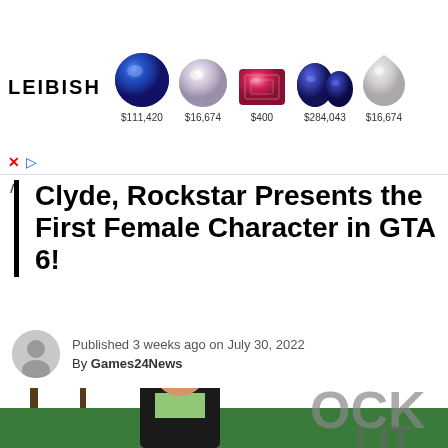[Figure (other): LEIBISH advertisement banner showing gemstones: blue sapphire ($111,420), diamond ($16,674), pink/red emerald-cut gem ($400), two blue sapphires ($284,043), teardrop diamond ($16,674)]
Clyde, Rockstar Presents the First Female Character in GTA 6!
Published 3 weeks ago on July 30, 2022
By Games24News
[Figure (illustration): GTA 6 female character illustration - woman with sunglasses, brown ponytail, black leather jacket, green top, palm trees and 'OCK' and 'LIT' sign visible in background]